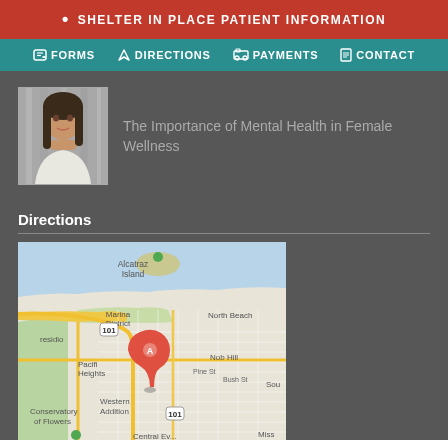SHELTER IN PLACE PATIENT INFORMATION
FORMS  DIRECTIONS  PAYMENTS  CONTACT
[Figure (photo): Portrait photo of a young woman resting her chin on her hand, with a blurred background]
The Importance of Mental Health in Female Wellness
Directions
[Figure (map): Google Maps screenshot showing San Francisco area with marker A near Pacific Heights, Alcatraz Island visible to the north, Marina District, North Beach, Nob Hill, Western Addition, Conservatory of Flowers labeled. Highway 101 visible.]